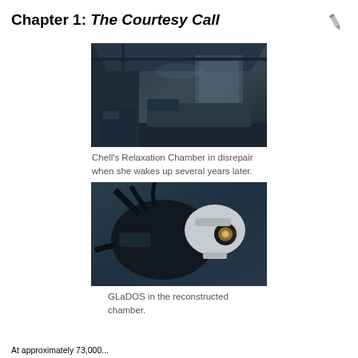Chapter 1: The Courtesy Call
[Figure (photo): Chell's Relaxation Chamber in disrepair, dark room with a bed, dim lighting from the side.]
Chell's Relaxation Chamber in disrepair when she wakes up several years later.
[Figure (photo): GLaDOS robotic head/core in the reconstructed chamber, dark mechanical device with cables and a glowing eye.]
GLaDOS in the reconstructed chamber.
At approximately 73,000...